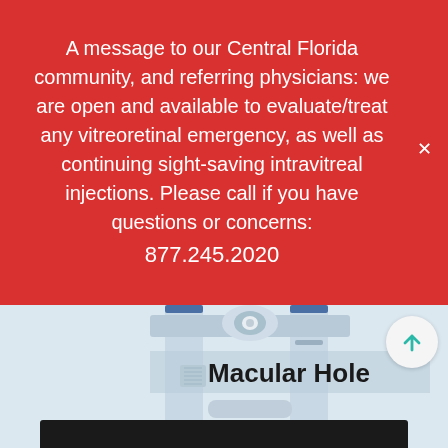A message to our Central Florida community, and referring physicians: we are open and available to evaluate/treat any vitreoretinal emergency, as well as continuing sight-saving intravitreal injections. Please call if you have questions or concerns: 877.245.2020
[Figure (photo): Medical ophthalmic equipment / slit lamp device with 'Macular Hole' label overlay]
[Figure (photo): Partial view of a second image at bottom, appears to be a dark/dim photo]